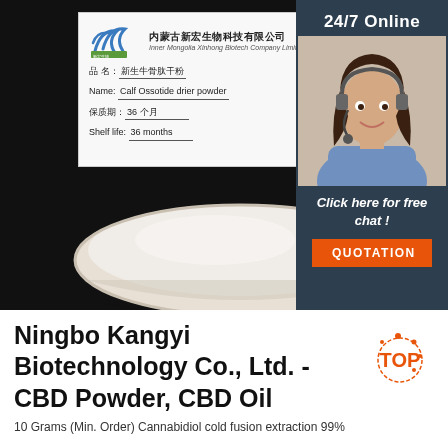[Figure (photo): Product photo showing a white powder in a petri dish on a dark background, with a label card in the top-left showing Inner Mongolia Xinhong Biotech Company Limited branding, product name in Chinese and English (Calf Ossotide drier powder), shelf life 36 months. A sidebar overlay on the right shows '24/7 Online', a female agent with headset, 'Click here for free chat!', and an orange QUOTATION button.]
Ningbo Kangyi Biotechnology Co., Ltd. - CBD Powder, CBD Oil
10 Grams (Min. Order) Cannabidiol cold fusion extraction 99%